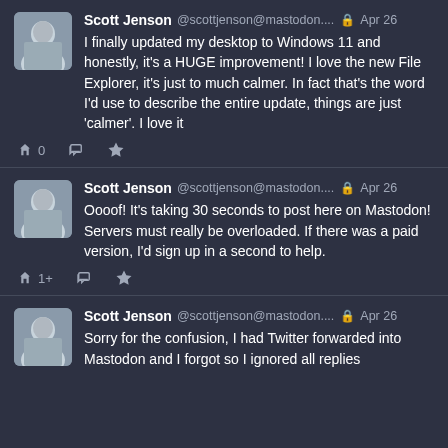[Figure (screenshot): Mastodon social media posts by Scott Jenson showing three toots about Windows 11 upgrade, Mastodon server slowness, and a confusion about Twitter forwarding]
Scott Jenson @scottjenson@mastodon.... Apr 26
I finally updated my desktop to Windows 11 and honestly, it's a HUGE improvement! I love the new File Explorer, it's just to much calmer. In fact that's the word I'd use to describe the entire update, things are just 'calmer'. I love it
Scott Jenson @scottjenson@mastodon.... Apr 26
Oooof! It's taking 30 seconds to post here on Mastodon! Servers must really be overloaded. If there was a paid version, I'd sign up in a second to help.
Scott Jenson @scottjenson@mastodon.... Apr 26
Sorry for the confusion, I had Twitter forwarded into Mastodon and I forgot so I ignored all replies